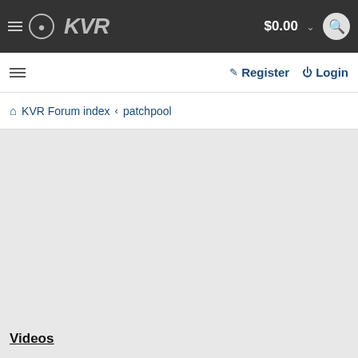KVR  $0.00  🔍
☰  Register  Login
🏠 KVR Forum index ‹ patchpool
Videos